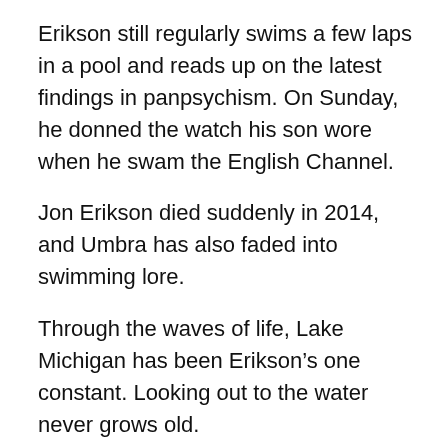Erikson still regularly swims a few laps in a pool and reads up on the latest findings in panpsychism. On Sunday, he donned the watch his son wore when he swam the English Channel.
Jon Erikson died suddenly in 2014, and Umbra has also faded into swimming lore.
Through the waves of life, Lake Michigan has been Erikson’s one constant. Looking out to the water never grows old.
“What got me into swimming in the first place is that I was on this shore, like here, and I was watching a boat disappear over the horizon,” Erikson said. “And I say, ‘That’s very interesting,